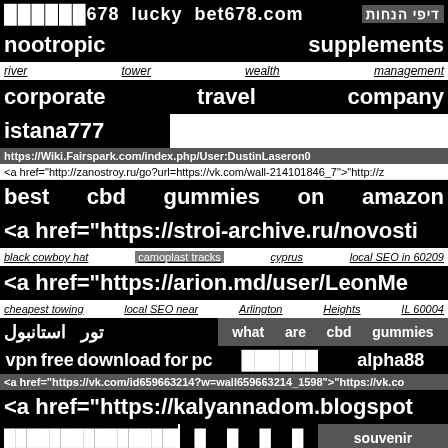██████678 lucky bet678.com דיפי הנחות
nootropic supplements
river tower wealth management
corporate travel company
istana777
https://Wiki.Fairspark.com/index.php/User:DustinLaseron0
<a href="http://zanostroy.ru/go?url=https://vk.com/wall-214101846_7">"http://z
best cbd gummies on amazon
<a href="https://stroi-archive.ru/novosti
black cowboy hat camoplast tracks cyprus local SEO in 60209
<a href="https://arion.md/user/LeonMe
cheapest towing local SEO near Arlington Heights IL 60004
تور استانبول what are cbd gummies
vpn free download for pc ██████ alpha88
<a href="https://vk.com/id659663214?w=wall659663214_1598">"https://vk.co
<a href="https://kalyannadom.blogspot
████████████████ █ █ █ █ souvenir
<a href="https://images.google.co.kr/url?q=https://twitter.com/Paul77338899/s
<a href="http://1gfzp.8539493rt.ga/__media__/js/netsoltrademark.php?d=vk.c
scan image to text
<a href="https://dizruntzion.com/__media__/js/netsoltrademark.php?d=vk.c